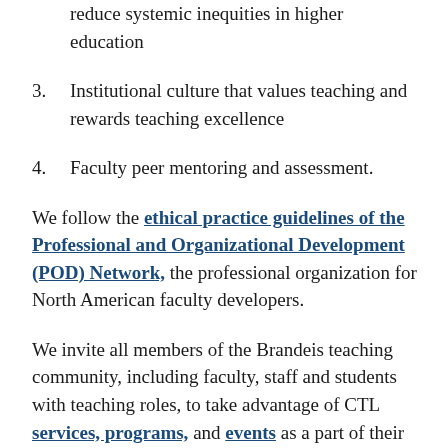reduce systemic inequities in higher education
3. Institutional culture that values teaching and rewards teaching excellence
4. Faculty peer mentoring and assessment.
We follow the ethical practice guidelines of the Professional and Organizational Development (POD) Network, the professional organization for North American faculty developers.
We invite all members of the Brandeis teaching community, including faculty, staff and students with teaching roles, to take advantage of CTL services, programs, and events as a part of their ongoing pedagogical development.